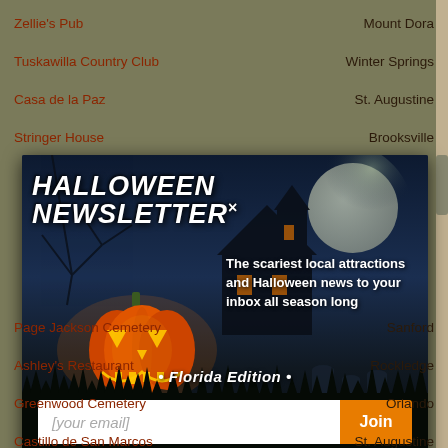Zellie's Pub | Mount Dora
Tuskawilla Country Club | Winter Springs
Casa de la Paz | St. Augustine
Stringer House | Brooksville
[Figure (screenshot): Halloween Newsletter popup/modal with dark spooky background, glowing jack-o-lantern, haunted house, full moon, tombstones, and email signup form. Text: 'HALLOWEEN NEWSLETTER' (large white italic title), 'The scariest local attractions and Halloween news to your inbox all season long', '• Florida Edition •', email input field with placeholder '[your email]' and orange 'Join' button.]
Page Jackson Cemetery | Sanford
Ashley's Restaurant | Rockledge
Greenwood Cemetery | Orlando
Castillo de San Marcos | St. Augustine